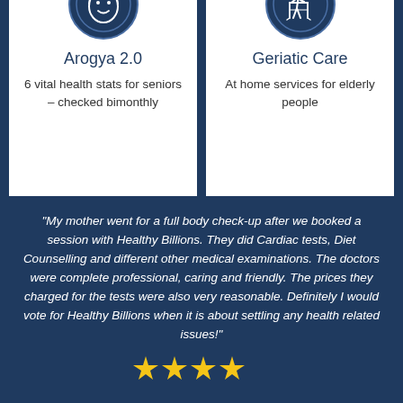[Figure (illustration): White icon of a senior person face inside a navy blue double-ring circle, on white card background]
Arogya 2.0
6 vital health stats for seniors – checked bimonthly
[Figure (illustration): White icon of elderly person with walking frame inside a navy blue double-ring circle, on white card background]
Geriatic Care
At home services for elderly people
“My mother went for a full body check-up after we booked a session with Healthy Billions. They did Cardiac tests, Diet Counselling and different other medical examinations. The doctors were complete professional, caring and friendly. The prices they charged for the tests were also very reasonable. Definitely I would vote for Healthy Billions when it is about settling any health related issues!”
[Figure (illustration): Four gold/yellow star rating icons]